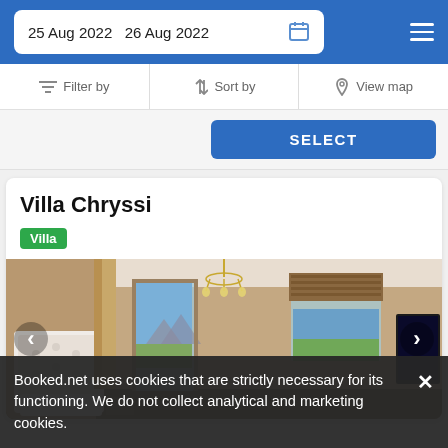25 Aug 2022  26 Aug 2022
Filter by  Sort by  View map
SELECT
Villa Chryssi
Villa
[Figure (photo): Interior bedroom photo of Villa Chryssi showing a white tufted headboard bed, ornate chandelier, drapes, glass doors opening to an outdoor view with landscape visible, and a mounted TV on the right wall.]
Booked.net uses cookies that are strictly necessary for its functioning. We do not collect analytical and marketing cookies.